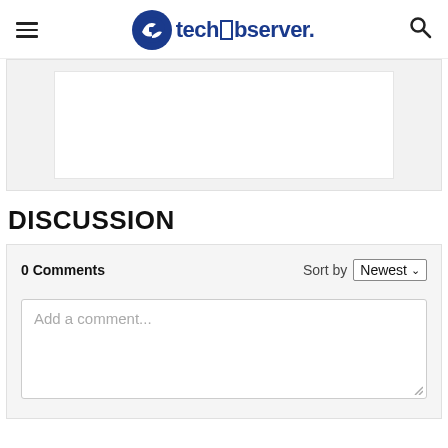techobserver.
[Figure (other): Advertisement placeholder box — light gray background with white inner box]
DISCUSSION
0 Comments  Sort by Newest
Add a comment...